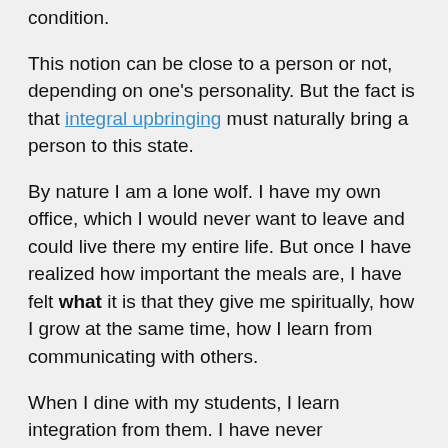condition.
This notion can be close to a person or not, depending on one's personality. But the fact is that integral upbringing must naturally bring a person to this state.
By nature I am a lone wolf. I have my own office, which I would never want to leave and could live there my entire life. But once I have realized how important the meals are, I have felt what it is that they give me spiritually, how I grow at the same time, how I learn from communicating with others.
When I dine with my students, I learn integration from them. I have never experienced it before since I attained the spiritual space in a different way. But I see it here and feel it through them. This is a very interesting discovery for me.